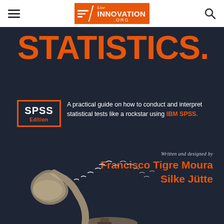Live INNOVATION .ORG
STATISTICS.
[Figure (illustration): SPSS Edition logo box with orange border, white text 'SPSS' and orange text 'Edition']
A practical guide on how to conduct and interpret statistical tests like a rockstar using IBM SPSS.
Written and designed by
Francisco Tigre Moura
Silke Jütte
[Figure (illustration): Vintage gramophone with birds flying out of the horn, against dark navy background]